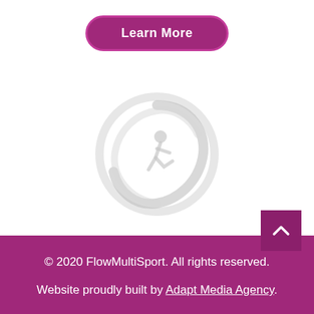Learn More
[Figure (logo): FlowMultiSport circular logo watermark in light grey showing a running figure inside a swirl/circle design]
© 2020 FlowMultiSport. All rights reserved.
Website proudly built by Adapt Media Agency.